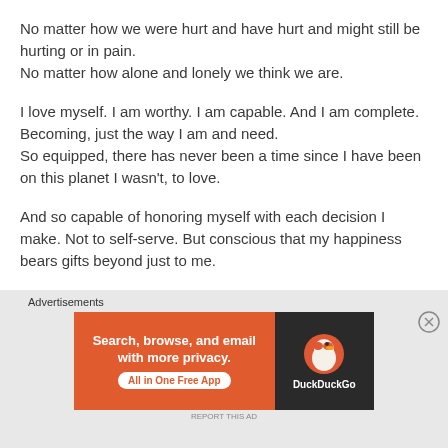No matter how we were hurt and have hurt and might still be hurting or in pain.
No matter how alone and lonely we think we are.
I love myself. I am worthy. I am capable. And I am complete. Becoming, just the way I am and need.
So equipped, there has never been a time since I have been on this planet I wasn't, to love.
And so capable of honoring myself with each decision I make. Not to self-serve. But conscious that my happiness bears gifts beyond just to me.
[Figure (screenshot): DuckDuckGo advertisement banner with orange background on left side reading 'Search, browse, and email with more privacy. All in One Free App' and dark background on right with DuckDuckGo duck logo]
Advertisements
REPORT THIS AD